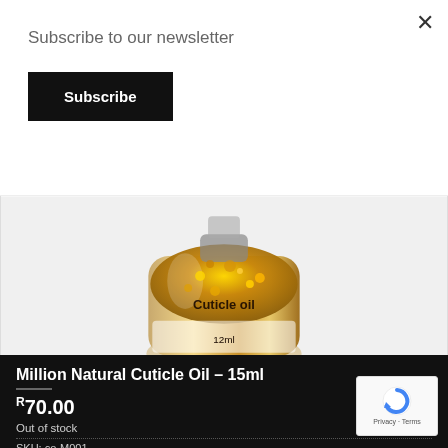Subscribe to our newsletter
Subscribe
[Figure (photo): Close-up of a clear glass nail polish-style bottle containing golden glitter/sequins labeled 'Cuticle oil 12ml']
Million Natural Cuticle Oil – 15ml
R70.00
Out of stock
SKU: co-M001
Categories: Lotions, creams and peels, Tools and Accessories, top, base, cleanser